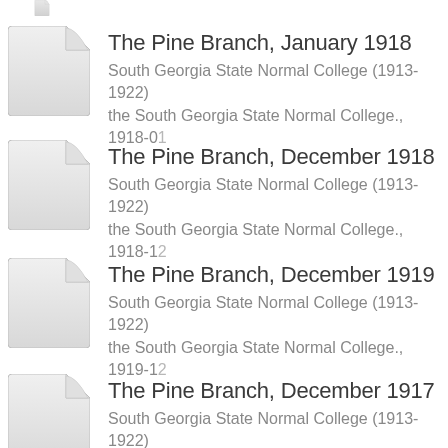The Pine Branch, January 1918
South Georgia State Normal College (1913-1922)
the South Georgia State Normal College., 1918-01
The Pine Branch, December 1918
South Georgia State Normal College (1913-1922)
the South Georgia State Normal College., 1918-12
The Pine Branch, December 1919
South Georgia State Normal College (1913-1922)
the South Georgia State Normal College., 1919-12
The Pine Branch, December 1917
South Georgia State Normal College (1913-1922)
the South Georgia State Normal College., 1917-12